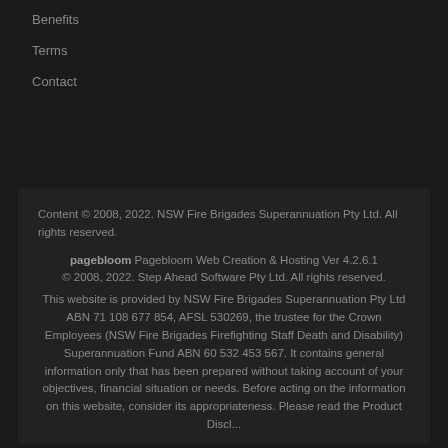Benefits
Terms
Contact
Content © 2008, 2022. NSW Fire Brigades Superannuation Pty Ltd. All rights reserved.
pagebloom Pagebloom Web Creation & Hosting Ver 4.2.6.1 © 2008, 2022. Step Ahead Software Pty Ltd. All rights reserved.
This website is provided by NSW Fire Brigades Superannuation Pty Ltd ABN 71 108 677 854, AFSL 530269, the trustee for the Crown Employees (NSW Fire Brigades Firefighting Staff Death and Disability) Superannuation Fund ABN 60 532 453 567. It contains general information only that has been prepared without taking account of your objectives, financial situation or needs. Before acting on the information on this website, consider its appropriateness. Please read the Product Disclosure Statement which is available on this website.